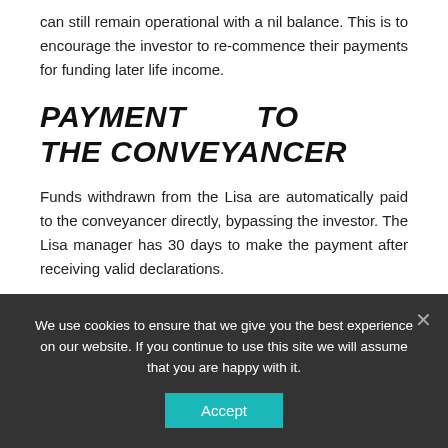can still remain operational with a nil balance. This is to encourage the investor to re-commence their payments for funding later life income.
PAYMENT TO THE CONVEYANCER
Funds withdrawn from the Lisa are automatically paid to the conveyancer directly, bypassing the investor. The Lisa manager has 30 days to make the payment after receiving valid declarations.
DECLARATIONS
We use cookies to ensure that we give you the best experience on our website. If you continue to use this site we will assume that you are happy with it.